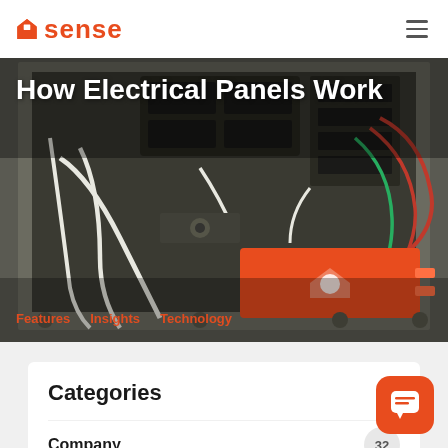sense
[Figure (photo): Open electrical panel showing circuit breakers and wiring, with an orange Sense home energy monitor device installed inside the panel]
How Electrical Panels Work
Features   Insights   Technology
Categories
Company  32
Features  60